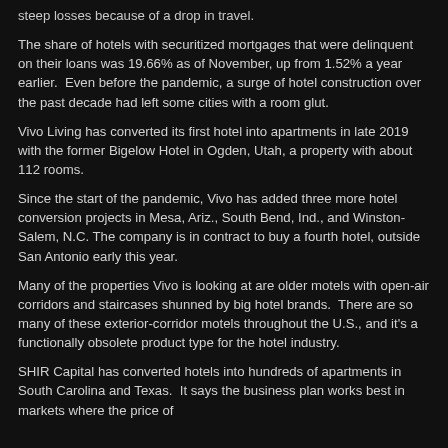steep losses because of a drop in travel.
The share of hotels with securitized mortgages that were delinquent on their loans was 19.66% as of November, up from 1.52% a year earlier.  Even before the pandemic, a surge of hotel construction over the past decade had left some cities with a room glut.
Vivo Living has converted its first hotel into apartments in late 2019 with the former Bigelow Hotel in Ogden, Utah, a property with about 112 rooms.
Since the start of the pandemic, Vivo has added three more hotel conversion projects in Mesa, Ariz., South Bend, Ind., and Winston-Salem, N.C. The company is in contract to buy a fourth hotel, outside San Antonio early this year.
Many of the properties Vivo is looking at are older motels with open-air corridors and staircases shunned by big hotel brands.  There are so many of these exterior-corridor motels throughout the U.S., and it's a functionally obsolete product type for the hotel industry.
SHIR Capital has converted hotels into hundreds of apartments in South Carolina and Texas.  It says the business plan works best in markets where the price of